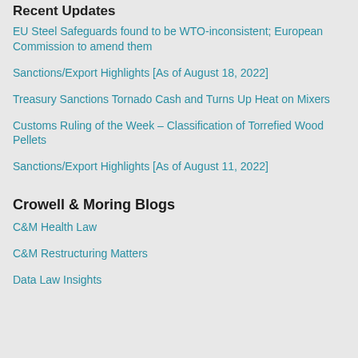Recent Updates
EU Steel Safeguards found to be WTO-inconsistent; European Commission to amend them
Sanctions/Export Highlights [As of August 18, 2022]
Treasury Sanctions Tornado Cash and Turns Up Heat on Mixers
Customs Ruling of the Week – Classification of Torrefied Wood Pellets
Sanctions/Export Highlights [As of August 11, 2022]
Crowell & Moring Blogs
C&M Health Law
C&M Restructuring Matters
Data Law Insights